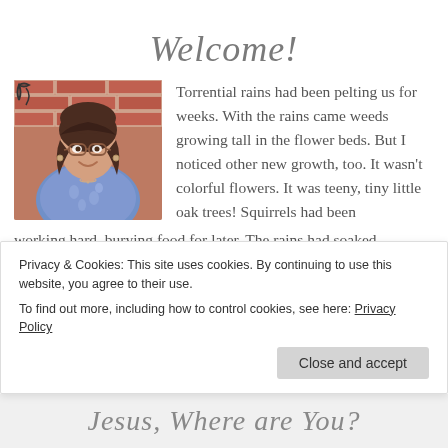Welcome!
[Figure (photo): Portrait photo of a smiling woman with glasses and dark hair, wearing a blue floral blouse, seated in front of a brick wall with decorative ironwork.]
Torrential rains had been pelting us for weeks. With the rains came weeds growing tall in the flower beds. But I noticed other new growth, too. It wasn't colorful flowers. It was teeny, tiny little oak trees! Squirrels had been working hard, burying food for later. The rains had soaked
Privacy & Cookies: This site uses cookies. By continuing to use this website, you agree to their use.
To find out more, including how to control cookies, see here: Privacy Policy
Close and accept
Jesus, Where are You?